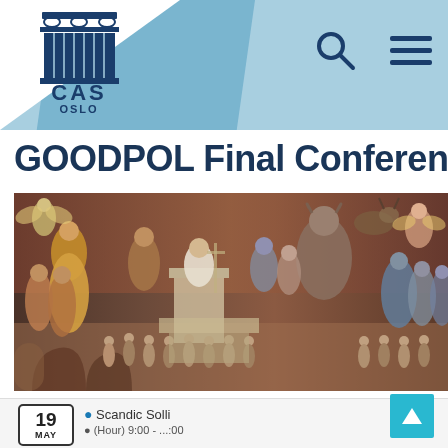[Figure (logo): CAS Oslo logo - stylized Greek column capital with text CAS OSLO]
[Figure (illustration): Medieval fresco painting showing allegorical figures, likely Allegory of Good Government by Ambrogio Lorenzetti]
GOODPOL Final Conference
Scandic Solli
19 MAY